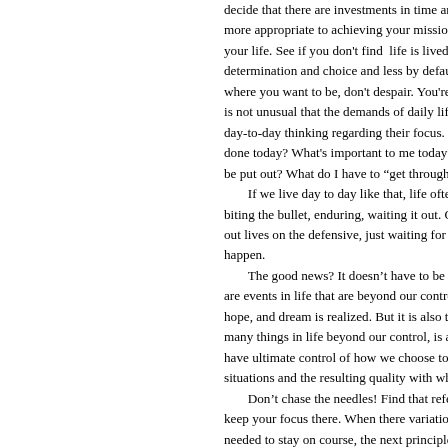decide that there are investments in time and energy that are more appropriate to achieving your mission. Make proper changes to your life. See if you don't find that life is lived more by determination and choice and less by default. If you are not sure where you want to be, don't despair. You're in good company. It is not unusual that the demands of daily life have people living day-to-day thinking regarding their focus. What do I have to get done today? What's important to me today? What fires need to be put out? What do I have to "get through" now?

If we live day to day like that, life often becomes about biting the bullet, enduring, waiting it out. Or, worse, we spend out lives on the defensive, just waiting for the next bad thing to happen.

The good news? It doesn't have to be that way! Yes, there are events in life that are beyond our control and not every plan, hope, and dream is realized. But it is also true that there are many things in life beyond our control, it is also true that we do have ultimate control of how we choose to respond to these situations and the resulting quality with which we live our lives.

Don't chase the needles! Find that reference point on the horizon and keep your focus there. When there are variations and adjustments needed to stay on course, the next principle is "small corrections quickly applie